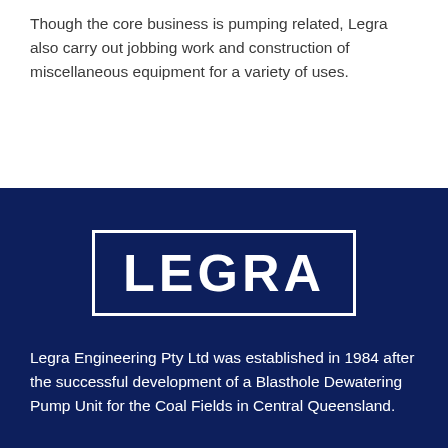Though the core business is pumping related, Legra also carry out jobbing work and construction of miscellaneous equipment for a variety of uses.
[Figure (logo): LEGRA company logo — white uppercase bold text 'LEGRA' inside a white rectangular border on a dark navy blue background]
Legra Engineering Pty Ltd was established in 1984 after the successful development of a Blasthole Dewatering Pump Unit for the Coal Fields in Central Queensland.